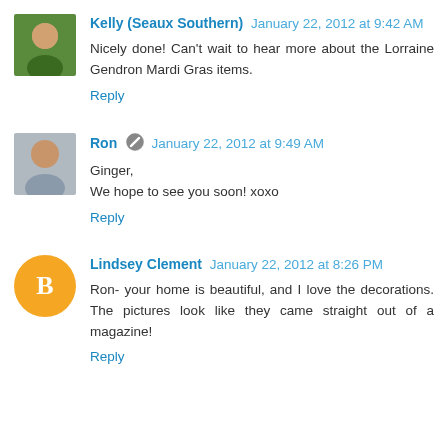[Figure (photo): Avatar photo of Kelly (Seaux Southern) - person in green shirt]
Kelly (Seaux Southern) January 22, 2012 at 9:42 AM
Nicely done! Can't wait to hear more about the Lorraine Gendron Mardi Gras items.
Reply
[Figure (photo): Avatar photo of Ron - man in gray shirt]
Ron January 22, 2012 at 9:49 AM
Ginger,
We hope to see you soon! xoxo
Reply
[Figure (illustration): Default Blogger avatar - orange circle with white B letter]
Lindsey Clement January 22, 2012 at 8:26 PM
Ron- your home is beautiful, and I love the decorations. The pictures look like they came straight out of a magazine!
Reply